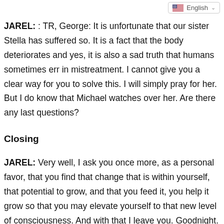English
JAREL:  : TR, George: It is unfortunate that our sister Stella has suffered so. It is a fact that the body deteriorates and yes, it is also a sad truth that humans sometimes err in mistreatment. I cannot give you a clear way for you to solve this. I will simply pray for her. But I do know that Michael watches over her. Are there any last questions?
Closing
JAREL:  Very well, I ask you once more, as a personal favor, that you find that change that is within yourself, that potential to grow, and that you feed it, you help it grow so that you may elevate yourself to that new level of consciousness. And with that I leave you. Goodnight.